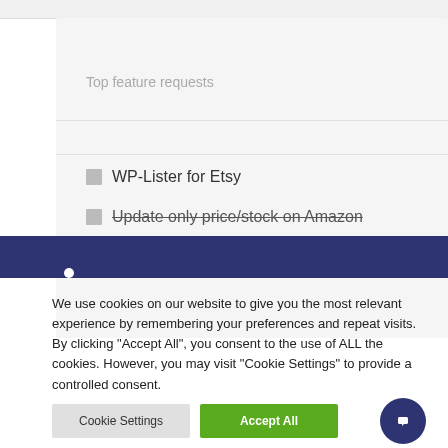Top feature requests
WP-Lister for Etsy
Update only price/stock on Amazon
We use cookies on our website to give you the most relevant experience by remembering your preferences and repeat visits. By clicking “Accept All”, you consent to the use of ALL the cookies. However, you may visit "Cookie Settings" to provide a controlled consent.
Cookie Settings
Accept All